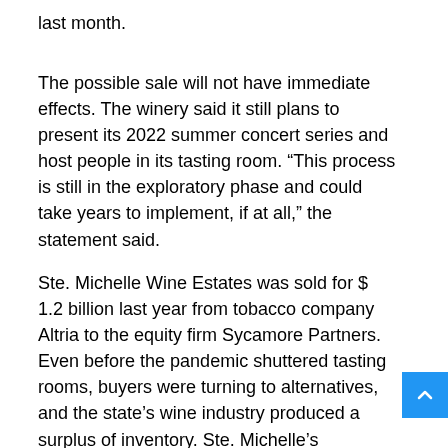last month.
The possible sale will not have immediate effects. The winery said it still plans to present its 2022 summer concert series and host people in its tasting room. “This process is still in the exploratory phase and could take years to implement, if at all,” the statement said.
Ste. Michelle Wine Estates was sold for $ 1.2 billion last year from tobacco company Altria to the equity firm Sycamore Partners. Even before the pandemic shuttered tasting rooms, buyers were turning to alternatives, and the state’s wine industry produced a surplus of inventory. Ste. Michelle’s operating income went from a $ 50 million profit to a $ 3 million loss from 2018 to 2019, according to Securities and Exchange Commission filings.